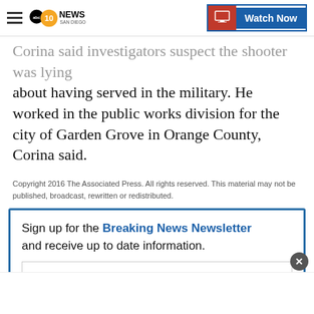10 News San Diego | Watch Now
Corina said investigators suspect the shooter was lying about having served in the military. He worked in the public works division for the city of Garden Grove in Orange County, Corina said.
Copyright 2016 The Associated Press. All rights reserved. This material may not be published, broadcast, rewritten or redistributed.
Sign up for the Breaking News Newsletter and receive up to date information.